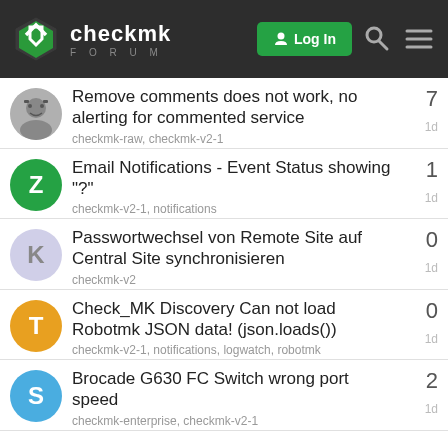checkmk FORUM
Remove comments does not work, no alerting for commented service
checkmk-raw, checkmk-v2-1
7 replies · 1d
Email Notifications - Event Status showing "?"
checkmk-v2-1, notifications
1 reply · 1d
Passwortwechsel von Remote Site auf Central Site synchronisieren
checkmk-v2
0 replies · 1d
Check_MK Discovery Can not load Robotmk JSON data! (json.loads())
checkmk-v2-1, notifications, logwatch, robotmk
0 replies · 1d
Brocade G630 FC Switch wrong port speed
checkmk-enterprise, checkmk-v2-1
2 replies · 1d